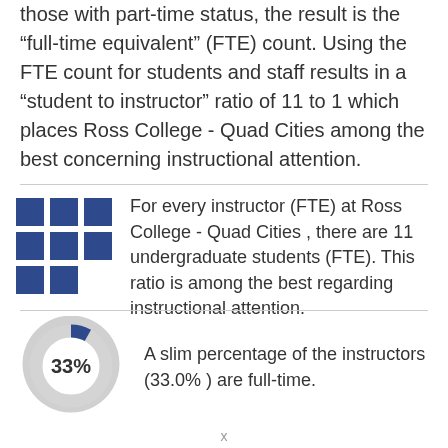those with part-time status, the result is the "full-time equivalent" (FTE) count. Using the FTE count for students and staff results in a "student to instructor" ratio of 11 to 1 which places Ross College - Quad Cities among the best concerning instructional attention.
[Figure (infographic): 3x3 grid of blue squares (one square missing from bottom-right) representing instructor-to-student ratio icon]
For every instructor (FTE) at Ross College - Quad Cities , there are 11 undergraduate students (FTE). This ratio is among the best regarding instructional attention.
[Figure (donut-chart): Percentage of full-time instructors]
A slim percentage of the instructors (33.0% ) are full-time.
x